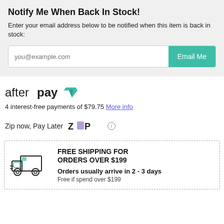Notify Me When Back In Stock!
Enter your email address below to be notified when this item is back in stock:
[Figure (other): Email input field with placeholder 'you@example.com' and a teal 'Email Me' button]
[Figure (logo): Afterpay logo with teal arrow symbol]
4 interest-free payments of $79.75 More info
Zip now, Pay Later
[Figure (logo): Zip logo with stylized Z and purple square, followed by an info icon]
[Figure (illustration): Delivery truck icon with teal accent]
FREE SHIPPING FOR ORDERS OVER $199
Orders usually arrive in 2 - 3 days
Free if spend over $199